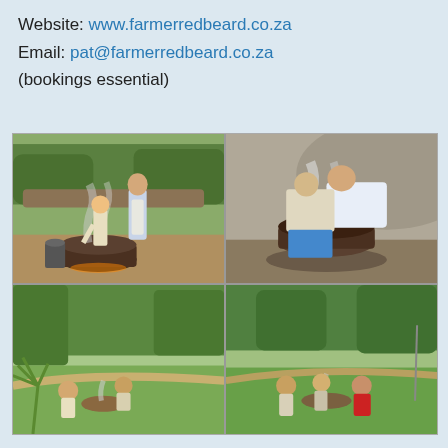Website: www.farmerredbeard.co.za
Email: pat@farmerredbeard.co.za
(bookings essential)
[Figure (photo): Four-photo grid showing people cooking outdoors over large iron pots on open fires, with smoke rising, set in a green rural landscape. Top-left: adult man and young child tending a smoking pot. Top-right: two people leaning over a steaming pot. Bottom-left: group of people sitting around a fire in a garden. Bottom-right: group of people gathered around a fire area.]